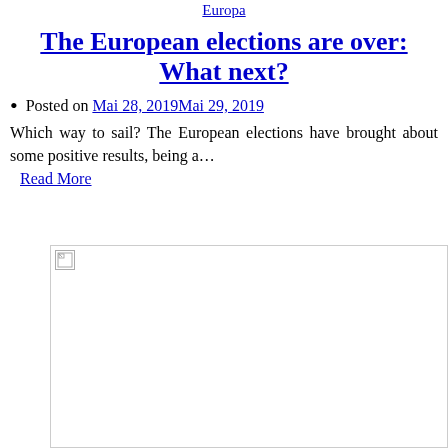Europa
The European elections are over: What next?
Posted on Mai 28, 2019Mai 29, 2019
Which way to sail? The European elections have brought about some positive results, being a… Read More
[Figure (photo): Image placeholder with broken image icon]